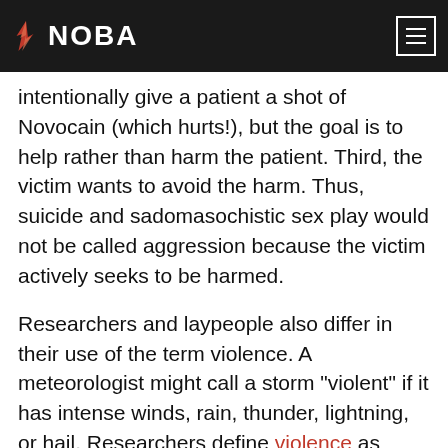NOBA
intentionally give a patient a shot of Novocain (which hurts!), but the goal is to help rather than harm the patient. Third, the victim wants to avoid the harm. Thus, suicide and sadomasochistic sex play would not be called aggression because the victim actively seeks to be harmed.
Researchers and laypeople also differ in their use of the term violence. A meteorologist might call a storm “violent” if it has intense winds, rain, thunder, lightning, or hail. Researchers define violence as aggression intended to cause extreme physical harm (e.g., injury, death). Thus, all violent acts are aggressive, but not all aggressive acts are violent. For example, screaming and swearing at another person is aggressive, but not